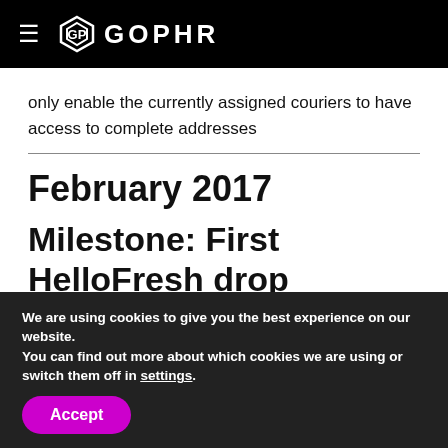GOPHR
only enable the currently assigned couriers to have access to complete addresses
February 2017
Milestone: First HelloFresh drop
We are using cookies to give you the best experience on our website.
You can find out more about which cookies we are using or switch them off in settings.
Accept